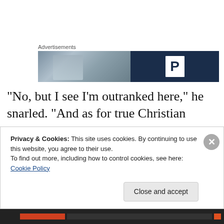Advertisements
[Figure (photo): Advertisement banner with a blurred photo on the left side and a dark blue panel on the right featuring a white 'P' letter in a box, resembling a parking or PowerPoint branding ad.]
“No, but I see I’m outranked here,” he snarled. “And as for true Christian traditions versus this ‘diversity’, it appears to me there’s only two traditions here, the true believers and your little rabble of heathens. I’m not sure you should even
Privacy & Cookies: This site uses cookies. By continuing to use this website, you agree to their use.
To find out more, including how to control cookies, see here: Cookie Policy
Close and accept